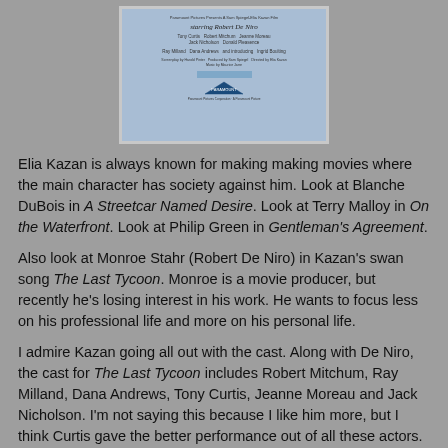[Figure (photo): Movie poster for The Last Tycoon, a Paramount Pictures film. Blue background with cast credits including Robert De Niro, Tony Curtis, Robert Mitchum, Jeanne Moreau, Jack Nicholson, Donald Pleasence, Ray Milland, Dana Andrews, and Ingrid Boulting.]
Elia Kazan is always known for making making movies where the main character has society against him. Look at Blanche DuBois in A Streetcar Named Desire. Look at Terry Malloy in On the Waterfront. Look at Philip Green in Gentleman's Agreement.
Also look at Monroe Stahr (Robert De Niro) in Kazan's swan song The Last Tycoon. Monroe is a movie producer, but recently he's losing interest in his work. He wants to focus less on his professional life and more on his personal life.
I admire Kazan going all out with the cast. Along with De Niro, the cast for The Last Tycoon includes Robert Mitchum, Ray Milland, Dana Andrews, Tony Curtis, Jeanne Moreau and Jack Nicholson. I'm not saying this because I like him more, but I think Curtis gave the better performance out of all these actors. He gives us what his role offers him, perhaps because he was a struggling actor like his character